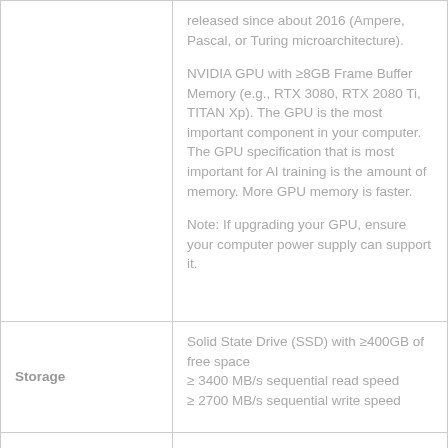| Component | Specification |
| --- | --- |
|  | released since about 2016 (Ampere, Pascal, or Turing microarchitecture).

NVIDIA GPU with ≥8GB Frame Buffer Memory (e.g., RTX 3080, RTX 2080 Ti, TITAN Xp). The GPU is the most important component in your computer. The GPU specification that is most important for AI training is the amount of memory. More GPU memory is faster.

Note: If upgrading your GPU, ensure your computer power supply can support it. |
| Storage | Solid State Drive (SSD) with ≥400GB of free space
≥ 3400 MB/s sequential read speed
≥ 2700 MB/s sequential write speed |
| Display | Full HD resolution of 1920x1080 pixels or larger |
| Power Supply | Power supply should be adequate to power the PC + GPU |